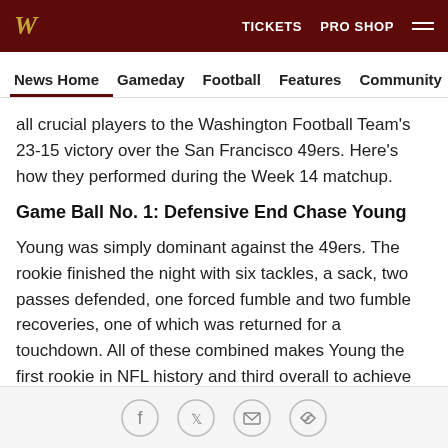W  TICKETS  PRO SHOP
News Home  Gameday  Football  Features  Community  Press
all crucial players to the Washington Football Team's 23-15 victory over the San Francisco 49ers. Here's how they performed during the Week 14 matchup.
Game Ball No. 1: Defensive End Chase Young
Young was simply dominant against the 49ers. The rookie finished the night with six tackles, a sack, two passes defended, one forced fumble and two fumble recoveries, one of which was returned for a touchdown. All of these combined makes Young the first rookie in NFL history and third overall to achieve this accomplishment since 1999.
Social share icons: Facebook, Twitter, Email, Link